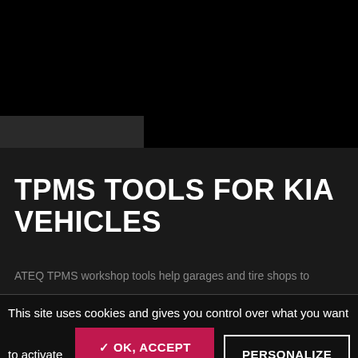[Figure (screenshot): Dark background with black top section showing a partial vehicle/product image area]
TPMS TOOLS FOR KIA VEHICLES
ATEQ TPMS workshop tools help garages and tire shops to
This site uses cookies and gives you control over what you want to activate
✓ OK, ACCEPT ALL
PERSONALIZE